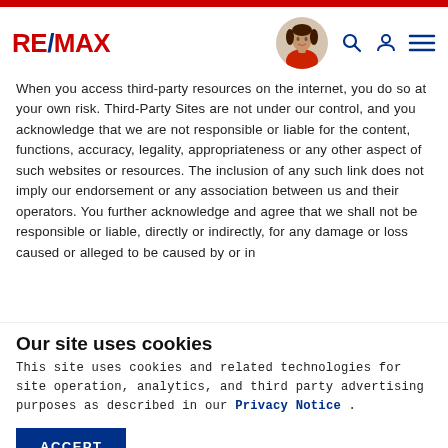RE/MAX navigation header with logo, agent photo, search, account, and menu icons
When you access third-party resources on the internet, you do so at your own risk. Third-Party Sites are not under our control, and you acknowledge that we are not responsible or liable for the content, functions, accuracy, legality, appropriateness or any other aspect of such websites or resources. The inclusion of any such link does not imply our endorsement or any association between us and their operators. You further acknowledge and agree that we shall not be responsible or liable, directly or indirectly, for any damage or loss caused or alleged to be caused by or in
Our site uses cookies
This site uses cookies and related technologies for site operation, analytics, and third party advertising purposes as described in our Privacy Notice .
ACCEPT